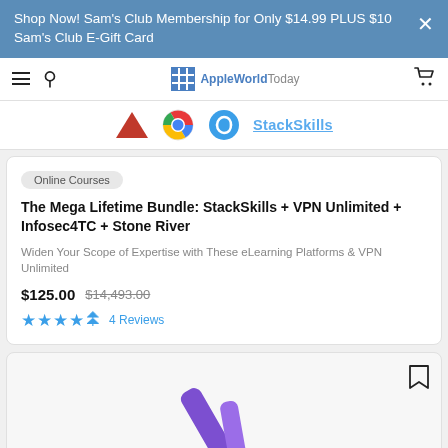Shop Now! Sam's Club Membership for Only $14.99 PLUS $10 Sam's Club E-Gift Card
[Figure (screenshot): AppleWorld.Today website navigation bar with hamburger menu, search icon, logo, and cart icon]
[Figure (logo): Partial product logos: red triangle logo, Google Chrome logo, blue circle logo, StackSkills text logo]
Online Courses
The Mega Lifetime Bundle: StackSkills + VPN Unlimited + Infosec4TC + Stone River
Widen Your Scope of Expertise with These eLearning Platforms & VPN Unlimited
$125.00  $14,493.00
4 Reviews
[Figure (illustration): Partial view of a purple pen/pencil illustration at bottom of page]